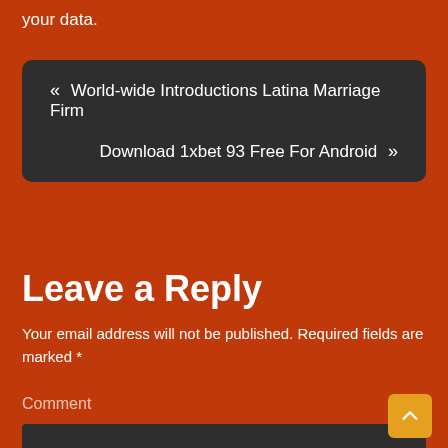your data.
« World-wide Introductions Latina Marriage Firm
Download 1xbet 93 Free For Android »
Leave a Reply
Your email address will not be published. Required fields are marked *
Comment